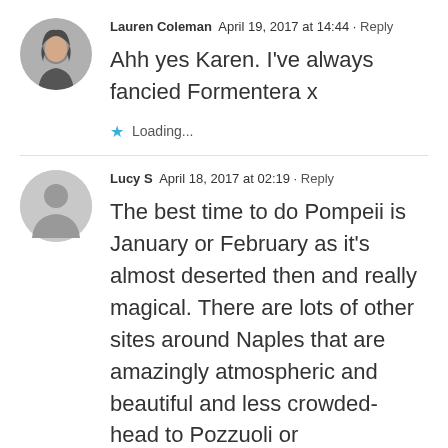Lauren Coleman  April 19, 2017 at 14:44 · Reply
Ahh yes Karen. I've always fancied Formentera x
Loading...
Lucy S  April 18, 2017 at 02:19 · Reply
The best time to do Pompeii is January or February as it's almost deserted then and really magical. There are lots of other sites around Naples that are amazingly atmospheric and beautiful and less crowded- head to Pozzuoli or